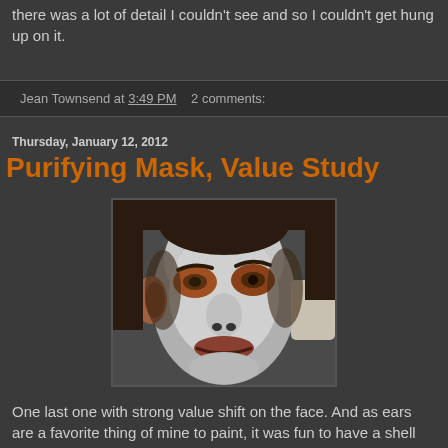there was a lot of detail I couldn't see and so I couldn't get hung up on it.
Jean Townsend at 3:49 PM   2 comments:
Thursday, January 12, 2012
Purifying Mask, Value Study
[Figure (photo): Painting of a person's face wearing a white/grey purifying face mask, viewed from below at an upward angle. The face shows the skin around the eyes in warm tones contrasting with the white mask. Ears are visible on the sides.]
One last one with strong value shift on the face. And as ears are a favorite thing of mine to paint, it was fun to have a shell